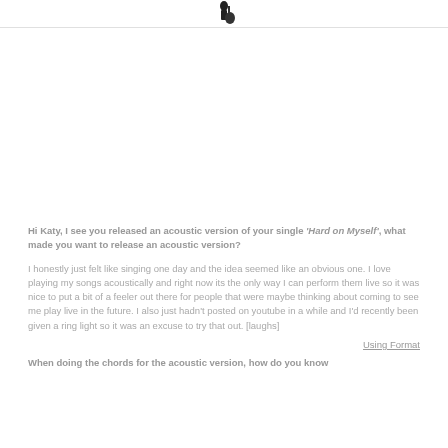[logo/image partial]
Hi Katy, I see you released an acoustic version of your single 'Hard on Myself', what made you want to release an acoustic version?
I honestly just felt like singing one day and the idea seemed like an obvious one. I love playing my songs acoustically and right now its the only way I can perform them live so it was nice to put a bit of a feeler out there for people that were maybe thinking about coming to see me play live in the future. I also just hadn't posted on youtube in a while and I'd recently been given a ring light so it was an excuse to try that out. [laughs]
Using Format
When doing the chords for the acoustic version, how do you know